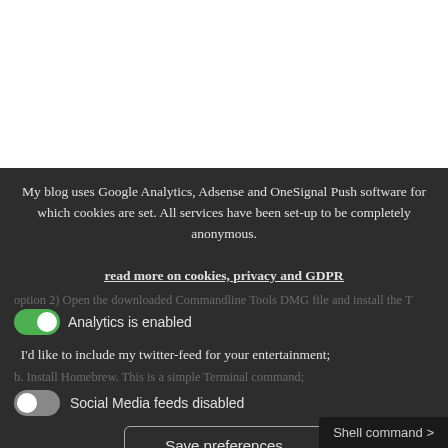My blog uses Google Analytics, Adsense and OneSignal Push software for which cookies are set. All services have been set-up to be completely anonymous.
read more on cookies, privacy and GDPR
option 2) Open the downloaded Commandline Tools DMG file and install the T...
Analytics is enabled
I'd like to include my twitter-feed for your entertainment;
b. Install Homebrew. This is a simple Terminal command;
Social Media feeds disabled
Save preferences
Shell command